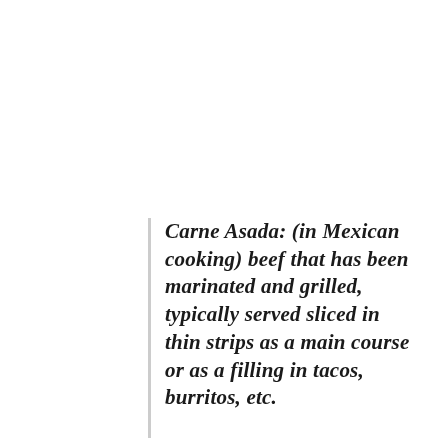Carne Asada: (in Mexican cooking) beef that has been marinated and grilled, typically served sliced in thin strips as a main course or as a filling in tacos, burritos, etc.